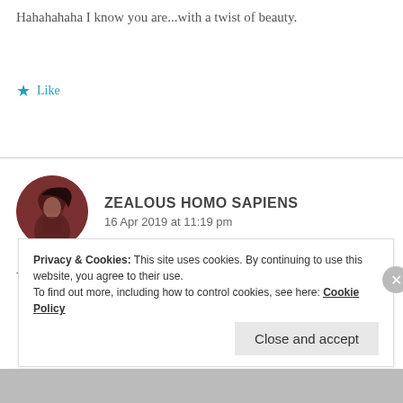Hahahahaha I know you are...with a twist of beauty.
★ Like
[Figure (photo): Circular avatar photo of a person with dark hair against a dark background, brownish-red tones]
ZEALOUS HOMO SAPIENS
16 Apr 2019 at 11:19 pm
Yea! You've got to admit that!
Privacy & Cookies: This site uses cookies. By continuing to use this website, you agree to their use.
To find out more, including how to control cookies, see here: Cookie Policy
Close and accept